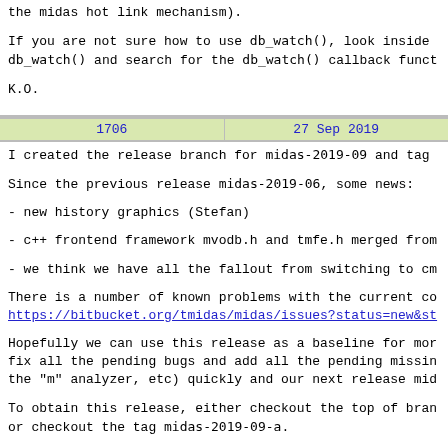the midas hot link mechanism).

If you are not sure how to use db_watch(), look inside db_watch() and search for the db_watch() callback funct

K.O.
| 1706 | 27 Sep 2019 |
| --- | --- |
I created the release branch for midas-2019-09 and tag
Since the previous release midas-2019-06, some news:
- new history graphics (Stefan)
- c++ frontend framework mvodb.h and tmfe.h merged from
- we think we have all the fallout from switching to cm
There is a number of known problems with the current co
https://bitbucket.org/tmidas/midas/issues?status=new&st
Hopefully we can use this release as a baseline for mor fix all the pending bugs and add all the pending missin the "m" analyzer, etc) quickly and our next release mid
To obtain this release, either checkout the top of bran or checkout the tag midas-2019-09-a.
If you are using the last pre-cmake/c++ release midas-2 until our next release midas-2019-10.